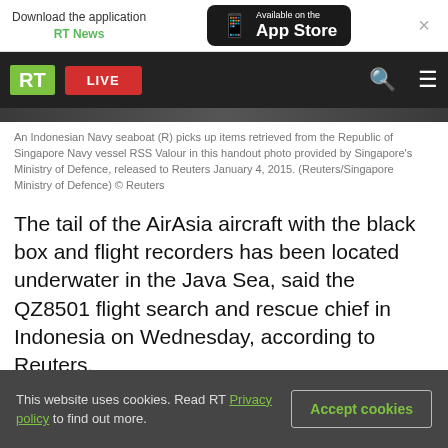[Figure (screenshot): App download banner: Download the application RT News, Available on the App Store]
[Figure (screenshot): RT website navigation bar with RT logo (green), LIVE red button, search and menu icons on dark background]
[Figure (photo): Partial photo strip showing Indonesian Navy seaboat scene]
An Indonesian Navy seaboat (R) picks up items retrieved from the Republic of Singapore Navy vessel RSS Valour in this handout photo provided by Singapore's Ministry of Defence, released to Reuters January 4, 2015. (Reuters/Singapore Ministry of Defence) © Reuters
The tail of the AirAsia aircraft with the black box and flight recorders has been located underwater in the Java Sea, said the QZ8501 flight search and rescue chief in Indonesia on Wednesday, according to Reuters.
This website uses cookies. Read RT Privacy policy to find out more.